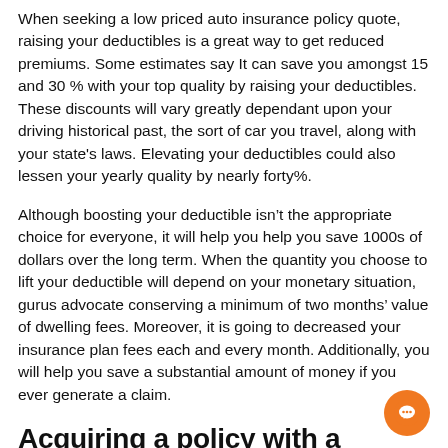When seeking a low priced auto insurance policy quote, raising your deductibles is a great way to get reduced premiums. Some estimates say It can save you amongst 15 and 30 % with your top quality by raising your deductibles. These discounts will vary greatly dependant upon your driving historical past, the sort of car you travel, along with your state's laws. Elevating your deductibles could also lessen your yearly quality by nearly forty%.
Although boosting your deductible isn't the appropriate choice for everyone, it will help you help you save 1000s of dollars over the long term. When the quantity you choose to lift your deductible will depend on your monetary situation, gurus advocate conserving a minimum of two months' value of dwelling fees. Moreover, it is going to decreased your insurance plan fees each and every month. Additionally, you will help you save a substantial amount of money if you ever generate a claim.
Acquiring a policy with a regional